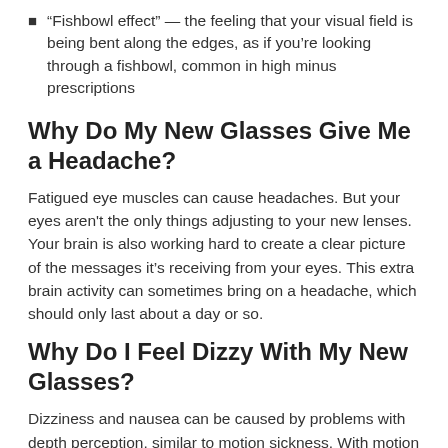“Fishbowl effect” — the feeling that your visual field is being bent along the edges, as if you’re looking through a fishbowl, common in high minus prescriptions
Why Do My New Glasses Give Me a Headache?
Fatigued eye muscles can cause headaches. But your eyes aren't the only things adjusting to your new lenses. Your brain is also working hard to create a clear picture of the messages it’s receiving from your eyes. This extra brain activity can sometimes bring on a headache, which should only last about a day or so.
Why Do I Feel Dizzy With My New Glasses?
Dizziness and nausea can be caused by problems with depth perception, similar to motion sickness. With motion sickness, you feel uneasy because your brain is having difficulty understanding the position of your body in relation to the space surrounding it. So when you wear your new glasses, your brain may need some time to understand how to interpret the new images it’s receiving